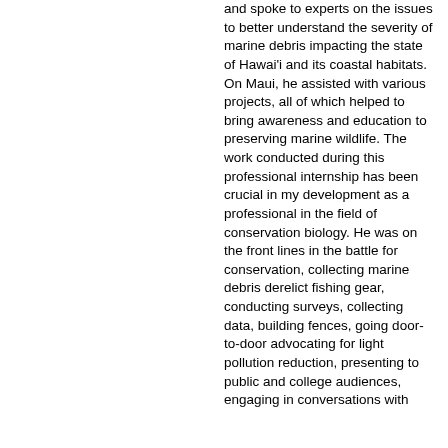and spoke to experts on the issues to better understand the severity of marine debris impacting the state of Hawai'i and its coastal habitats. On Maui, he assisted with various projects, all of which helped to bring awareness and education to preserving marine wildlife. The work conducted during this professional internship has been crucial in my development as a professional in the field of conservation biology. He was on the front lines in the battle for conservation, collecting marine debris derelict fishing gear, conducting surveys, collecting data, building fences, going door-to-door advocating for light pollution reduction, presenting to public and college audiences, engaging in conversations with